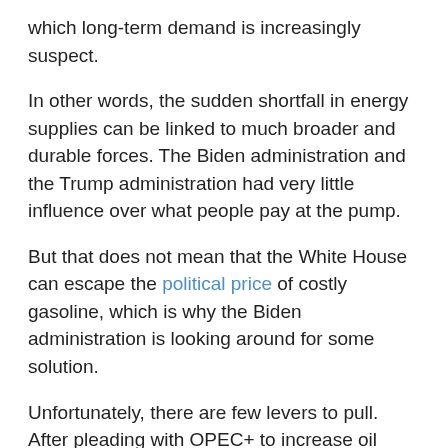which long-term demand is increasingly suspect.
In other words, the sudden shortfall in energy supplies can be linked to much broader and durable forces. The Biden administration and the Trump administration had very little influence over what people pay at the pump.
But that does not mean that the White House can escape the political price of costly gasoline, which is why the Biden administration is looking around for some solution.
Unfortunately, there are few levers to pull. After pleading with OPEC+ to increase oil production – to no avail – the one obvious move the U.S. government can take is to release oil from the strategic petroleum reserve (SPR). Secretary of Energy Jennifer Granholm confirmed that the Biden administration is